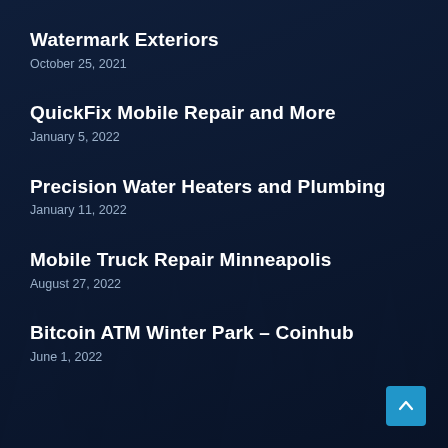Watermark Exteriors
October 25, 2021
QuickFix Mobile Repair and More
January 5, 2022
Precision Water Heaters and Plumbing
January 11, 2022
Mobile Truck Repair Minneapolis
August 27, 2022
Bitcoin ATM Winter Park – Coinhub
June 1, 2022